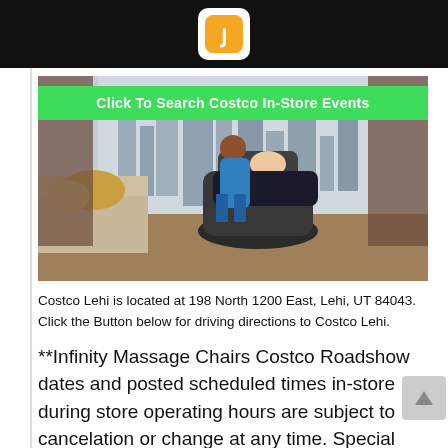[Logo: Jgoo / app icon]
[Figure (photo): Photo of a person reclining in a massage chair with a technician demonstrating it, in front of floor-to-ceiling windows with a city skyline view. A green button overlay reads 'Click To Search Costco In-Store Events'.]
Costco Lehi is located at 198 North 1200 East, Lehi, UT 84043. Click the Button below for driving directions to Costco Lehi.
**Infinity Massage Chairs Costco Roadshow dates and posted scheduled times in-store during store operating hours are subject to cancelation or change at any time. Special